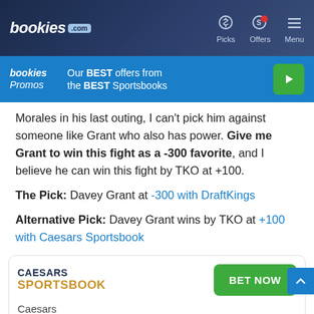bookies.com | Picks | Offers | Menu
[Figure (infographic): bookies Promos banner: Our BEST offers from the BEST Sportsbooks with green play button]
Morales in his last outing, I can't pick him against someone like Grant who also has power. Give me Grant to win this fight as a -300 favorite, and I believe he can win this fight by TKO at +100.
The Pick: Davey Grant at -300 with DraftKings
Alternative Pick: Davey Grant wins by TKO at +100 with Caesars Sportsbook
[Figure (infographic): Caesars Sportsbook card with BET NOW button and Caesars label at bottom]